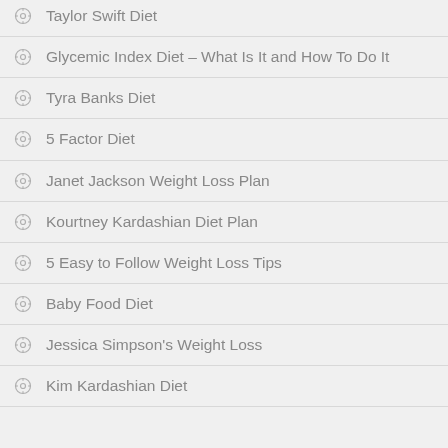Taylor Swift Diet
Glycemic Index Diet – What Is It and How To Do It
Tyra Banks Diet
5 Factor Diet
Janet Jackson Weight Loss Plan
Kourtney Kardashian Diet Plan
5 Easy to Follow Weight Loss Tips
Baby Food Diet
Jessica Simpson's Weight Loss
Kim Kardashian Diet